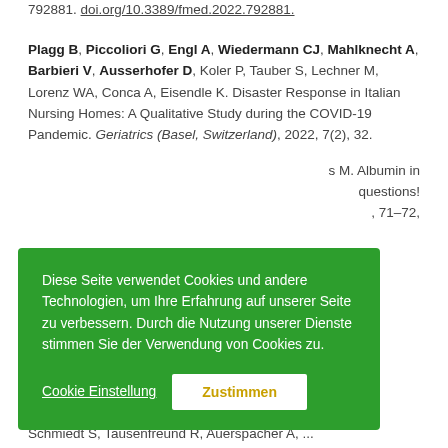792881. doi.org/10.3389/fmed.2022.792881.
Plagg B, Piccoliori G, Engl A, Wiedermann CJ, Mahlknecht A, Barbieri V, Ausserhofer D, Koler P, Tauber S, Lechner M, Lorenz WA, Conca A, Eisendle K. Disaster Response in Italian Nursing Homes: A Qualitative Study during the COVID-19 Pandemic. Geriatrics (Basel, Switzerland), 2022, 7(2), 32.
[Figure (screenshot): Green cookie consent overlay in German: 'Diese Seite verwendet Cookies und andere Technologien, um Ihre Erfahrung auf unserer Seite zu verbessern. Durch die Nutzung unserer Dienste stimmen Sie der Verwendung von Cookies zu.' with 'Cookie Einstellung' and 'Zustimmen' buttons.]
s M. Albumin in questions! 71–72,
Schmiedt S, Tausenfreund R, Auerspacher A, ...